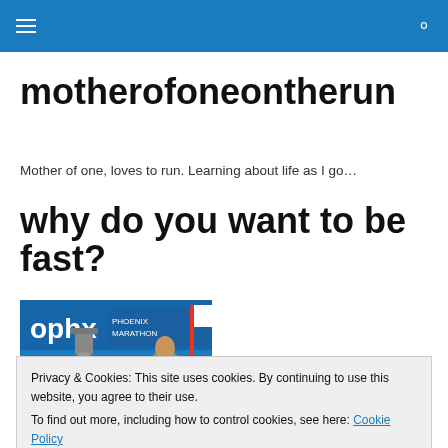motherofone on the run — navigation header with hamburger menu and search icon
motherofoneontherun
Mother of one, loves to run. Learning about life as I go…
why do you want to be fast?
[Figure (photo): Photo of a person at the Phoenix Marathon start area with a bell prop, blue signage showing 'ophx' and 'PHOENIX MARATHON']
Privacy & Cookies: This site uses cookies. By continuing to use this website, you agree to their use.
To find out more, including how to control cookies, see here: Cookie Policy
Close and accept